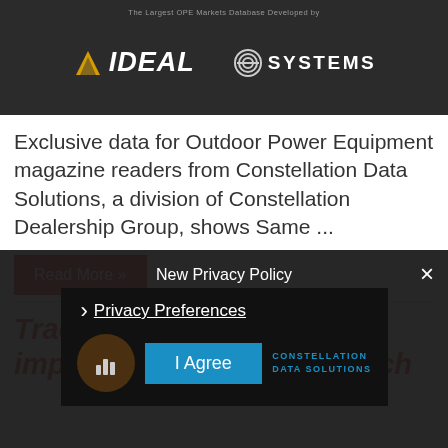[Figure (logo): Dark banner with IDEAL and SYSTEMS logos and text 'The Largest OPE Markets Database Developed by']
Exclusive data for Outdoor Power Equipment magazine readers from Constellation Data Solutions, a division of Constellation Dealership Group, shows Same ...
Read More »
Tractor dealerships feel impact of COVID-19 In March
[Figure (screenshot): New Privacy Policy modal overlay with Privacy Preferences link, I Agree button, and Constellation Data Solutions logo]